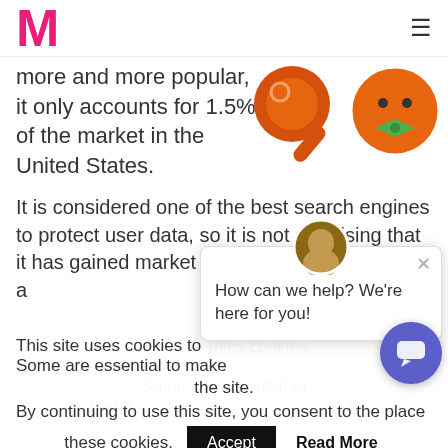M
more and more popular, it only accounts for 1.5% of the market in the United States.
[Figure (illustration): Two cartoon icons: an orange magnifying glass and an orange circle with a green bow tie]
It is considered one of the best search engines to protect user data, so it is not surprising that it has gained market share. It does not collect a
This site uses cookies to
Some are essential to make
the site.
By continuing to use this site, you consent to the place
these cookies.
[Figure (screenshot): Chat popup with avatar and message: How can we help? We're here for you!]
[Figure (illustration): Purple chat bubble button in bottom right corner]